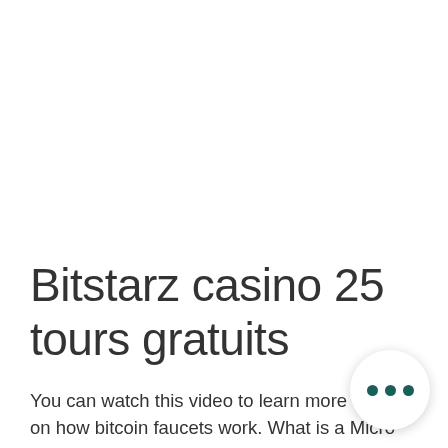Bitstarz casino 25 tours gratuits
You can watch this video to learn more details on how bitcoin faucets work. What is a Micro wallet? A Micro wallet is a multi-currency wallet that does not require any transaction fee to transfer coins. This lets you transfer your small earnings from faucets instantly, eliminating the risk of scams, bitstarz